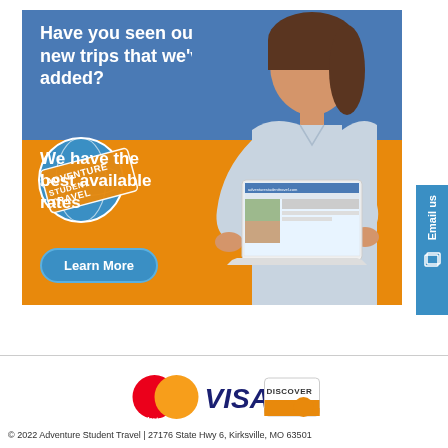[Figure (illustration): Adventure Student Travel advertisement banner. Blue top section with white bold text 'Have you seen our new trips that we've added?'. Orange lower section with white text 'We have the best available rates'. Globe logo with Adventure Student Travel stamp badge on the left. Woman holding a laptop displaying a travel website. Blue 'Learn More' button at bottom left.]
[Figure (logo): Payment logos: MasterCard (red and yellow circles), VISA (blue text), DISCOVER (orange and white card)]
© 2022 Adventure Student Travel | 27176 State Hwy 6, Kirksville, MO 63501